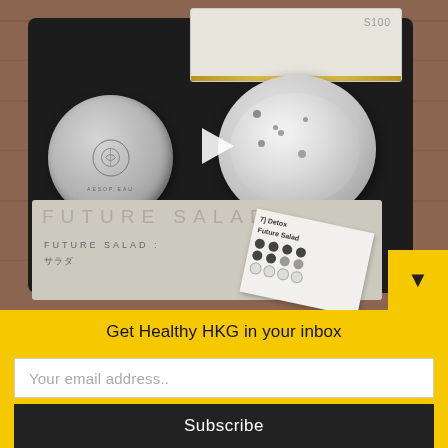[Figure (photo): Overhead photo of an open black-foam-lined box containing a silver tin with a logo, a foil food container with salad, and a white card packaging. A play button overlay is visible in the center. A white card labeled 'Future Salad' sits below with a Detox Future Salad label card. A yellow dropdown arrow is in the bottom-right corner.]
Get Healthy HKG in your inbox
Your email address..
Subscribe